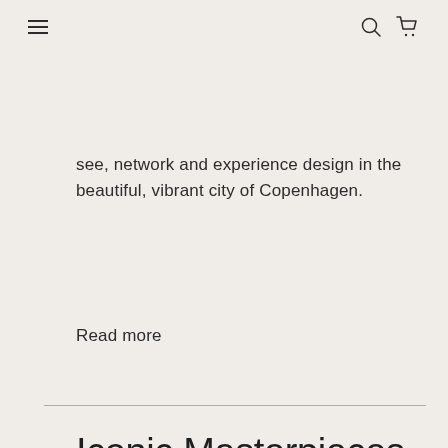≡  🔍  🛒
see, network and experience design in the beautiful, vibrant city of Copenhagen.
Read more
Iconic Masterpieces from House of Finn Juhl